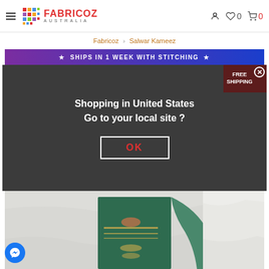[Figure (screenshot): Fabricoz Australia website header with logo, hamburger menu, user icon, wishlist (heart with 0), and cart (with 0 in red)]
Fabricoz > Salwar Kameez
[Figure (infographic): Banner: ★ SHIPS IN 1 WEEK WITH STITCHING ★]
[Figure (screenshot): Modal dialog overlay on product page: 'Shopping in United States Go to your local site?' with OK button, and a FREE SHIPPING badge with X close button in top right]
[Figure (photo): Product photo showing a model wearing a green salwar kameez with gold embroidery pattern]